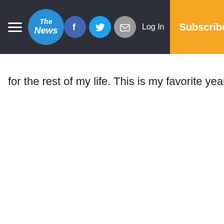The News — navbar with hamburger menu, logo, Facebook, Twitter, Email icons, Log In, Subscribe
for the rest of my life. This is my favorite year playing foo